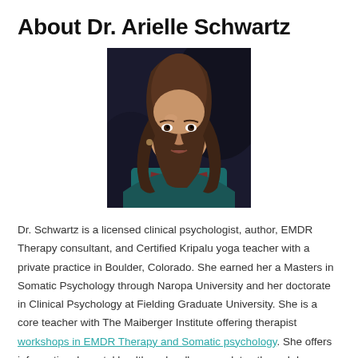About Dr. Arielle Schwartz
[Figure (photo): Portrait photo of Dr. Arielle Schwartz, a woman with long brown hair, wearing a teal top and red scarf, photographed against a dark background.]
Dr. Schwartz is a licensed clinical psychologist, author, EMDR Therapy consultant, and Certified Kripalu yoga teacher with a private practice in Boulder, Colorado. She earned her a Masters in Somatic Psychology through Naropa University and her doctorate in Clinical Psychology at Fielding Graduate University. She is a core teacher with The Maiberger Institute offering therapist workshops in EMDR Therapy and Somatic psychology. She offers informational mental health and wellness updates through her heartfelt presentations, social media presence, and blog. She is the author of The Complex PTSD Workbook: A Mind-